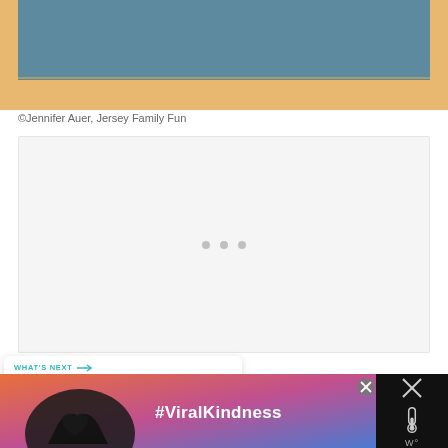[Figure (photo): Top portion of a classroom chalkboard with a tan/orange wooden frame border at bottom, blue-grey chalkboard surface visible]
©Jennifer Auer, Jersey Family Fun
[Figure (other): White/light grey content placeholder box with three small grey dots centered in it, heart/like button (teal circle) and share button (white circle with share icon) on the left side]
[Figure (other): What's Next navigation card showing 'Nomahegan Park – Unio...' with a circular thumbnail image of the park]
[Figure (other): Advertisement banner at bottom: black background with colorful gradient image of silhouetted hands forming a heart shape, text '#ViralKindness', close button, and right panel with X icon and thermometer icon]